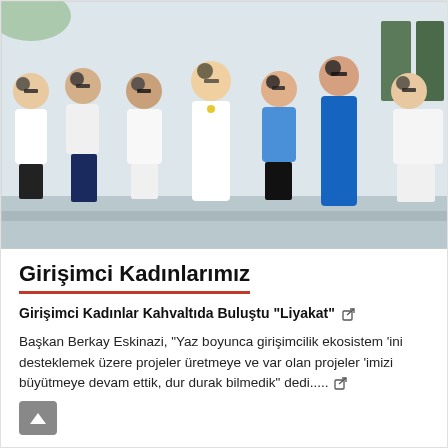[Figure (photo): Group photo of entrepreneurial women standing together outdoors on a sunny day. Several women wearing white, navy, and colorful outfits with sunglasses. Background shows a building with green shutters.]
Girişimci Kadınlarımız
Girişimci Kadınlar Kahvaltıda Buluştu "Liyakat"
Başkan Berkay Eskinazi, "Yaz boyunca girişimcilik ekosistem 'ini desteklemek üzere projeler üretmeye ve var olan projeler 'imizi büyütmeye devam ettik, dur durak bilmedik" dedi.....